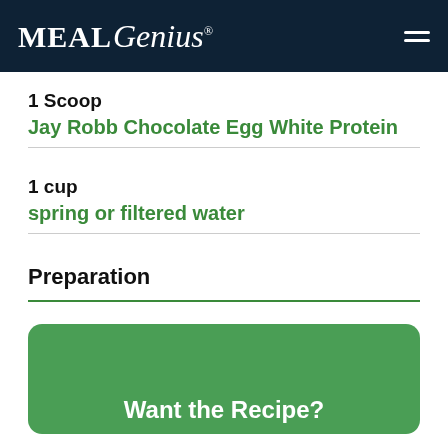MealGenius
1 Scoop
Jay Robb Chocolate Egg White Protein
1 cup
spring or filtered water
Preparation
[Figure (other): Green call-to-action box with text 'Want the Recipe?']